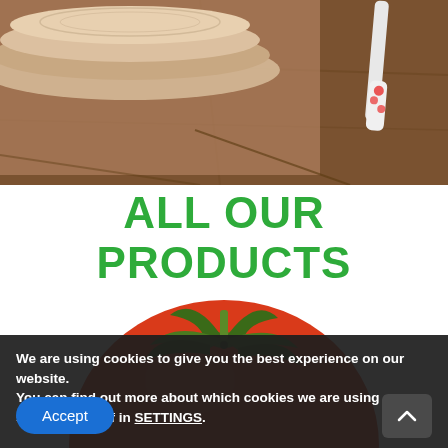[Figure (photo): Top portion of a food photo showing stacked plates or dishes with a decorative knife on a wooden surface]
ALL OUR PRODUCTS
[Figure (photo): Close-up photo of a red tomato with green stem/leaves on white background]
We are using cookies to give you the best experience on our website.
You can find out more about which cookies we are using or switch them off in SETTINGS.
Accept